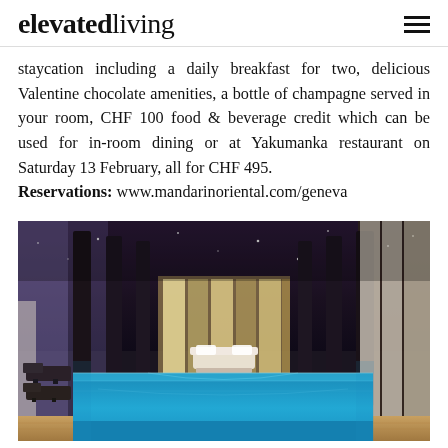elevated living
staycation including a daily breakfast for two, delicious Valentine chocolate amenities, a bottle of champagne served in your room, CHF 100 food & beverage credit which can be used for in-room dining or at Yakumanka restaurant on Saturday 13 February, all for CHF 495. Reservations: www.mandarinoriental.com/geneva
[Figure (photo): Indoor hotel swimming pool with dark ceiling featuring star-like lights, large columns, white curtain drapes, and glowing blue water. Lounge chairs visible to the left side.]